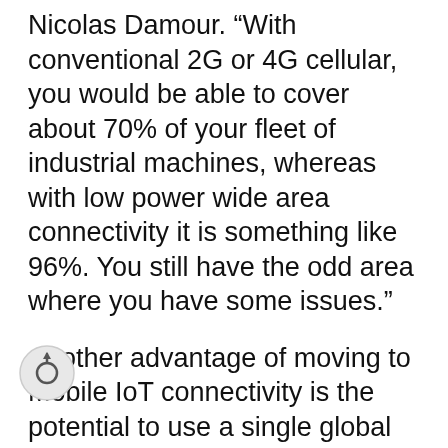Nicolas Damour. “With conventional 2G or 4G cellular, you would be able to cover about 70% of your fleet of industrial machines, whereas with low power wide area connectivity it is something like 96%. You still have the odd area where you have some issues.”
Another advantage of moving to Mobile IoT connectivity is the potential to use a single global SKU (stock keeping unit) product that can change its frequency to adapt to all cellular networks across the world. Atlas Copco anticipates being able to deploy the same connectivity module in all the markets where it operates as the chosen IoT gateway supports multiple frequency bands. “Being able to deploy a single product worldwide is important,” says